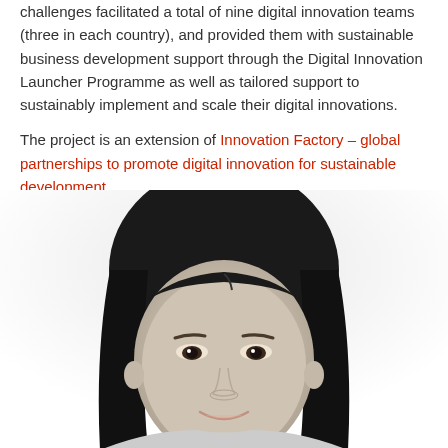challenges facilitated a total of nine digital innovation teams (three in each country), and provided them with sustainable business development support through the Digital Innovation Launcher Programme as well as tailored support to sustainably implement and scale their digital innovations.
The project is an extension of Innovation Factory – global partnerships to promote digital innovation for sustainable development.
[Figure (photo): Black and white headshot photo of a young Asian woman with long dark hair, smiling slightly, shown from approximately the shoulders up, cropped at the bottom of the frame.]